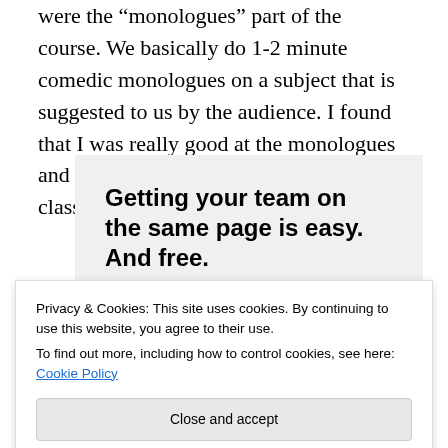were the “monologues” part of the course. We basically do 1-2 minute comedic monologues on a subject that is suggested to us by the audience. I found that I was really good at the monologues and could make people laugh. I left the class feeling somewhat elated.
[Figure (other): Advertisement box with gray background showing bold text 'Getting your team on the same page is easy. And free.' with four circular avatar images below (three grayscale faces and one blue circle).]
Privacy & Cookies: This site uses cookies. By continuing to use this website, you agree to their use.
To find out more, including how to control cookies, see here: Cookie Policy